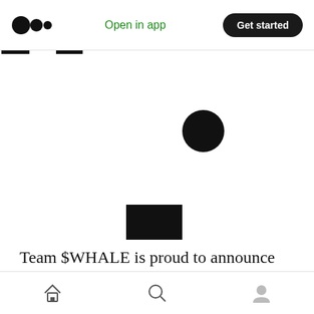Open in app | Get started
[Figure (logo): Cryptocurrency token logo: black circle with a stylized face/radar icon — a large outer arc forming a half-circle, inner arc rings, a dot in the upper-right quadrant, and a rectangular mouth shape at the bottom.]
Team $WHALE is proud to announce that we have completed our 2nd private token sale to strategic partners and investors in the crypto
Home | Search | Profile